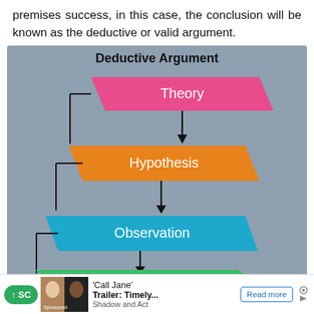premises success, in this case, the conclusion will be known as the deductive or valid argument.
[Figure (flowchart): Deductive Argument flowchart showing: Theory (pink parallelogram) → Hypothesis (orange parallelogram) → Observation (blue parallelogram) → (green shape, partially visible). Each shape connected by downward arrows with bracket connectors on the left side.]
↑ SC  'Call Jane' Trailer: Timely...  Shadow and Act  Sponsored  Read more